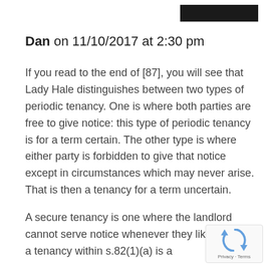[redacted header bar]
Dan on 11/10/2017 at 2:30 pm
If you read to the end of [87], you will see that Lady Hale distinguishes between two types of periodic tenancy. One is where both parties are free to give notice: this type of periodic tenancy is for a term certain. The other type is where either party is forbidden to give that notice except in circumstances which may never arise. That is then a tenancy for a term uncertain.
A secure tenancy is one where the landlord cannot serve notice whenever they like. Hence a tenancy within s.82(1)(a) is a